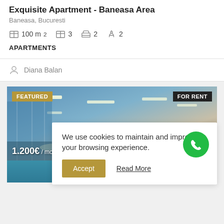Exquisite Apartment - Baneasa Area
Baneasa, Bucuresti
100 m²  3  2  2
APARTMENTS
Diana Balan
[Figure (photo): Interior photo of a modern apartment with recessed ceiling lights, overlaid with cookie consent popup. Image tagged FEATURED and FOR RENT. Price shown: 1.200€ / month.]
We use cookies to maintain and improve your browsing experience.
Accept
Read More
1.200€ / month